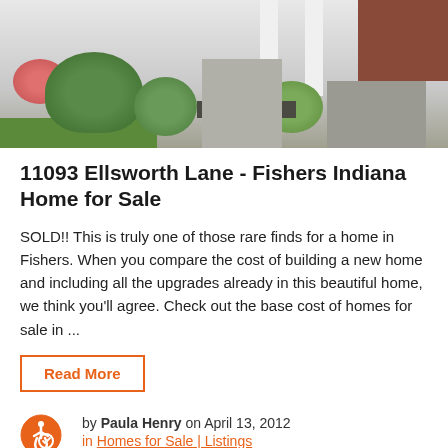[Figure (photo): Exterior photo of a house showing landscaping with shrubs and flowers in the foreground, a concrete walkway, white pillars, and brick exterior.]
11093 Ellsworth Lane - Fishers Indiana Home for Sale
SOLD!! This is truly one of those rare finds for a home in Fishers. When you compare the cost of building a new home and including all the upgrades already in this beautiful home, we think you'll agree. Check out the base cost of homes for sale in ...
Read More
by Paula Henry on April 13, 2012
in Homes for Sale | Listings